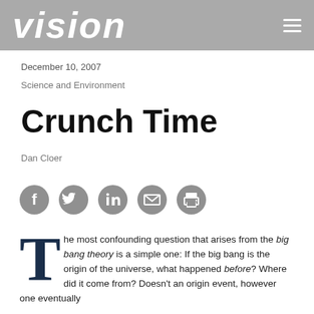vision
December 10, 2007
Science and Environment
Crunch Time
Dan Cloer
[Figure (infographic): Social sharing icons: Facebook, Twitter, LinkedIn, Email, Print]
The most confounding question that arises from the big bang theory is a simple one: If the big bang is the origin of the universe, what happened before? Where did it come from? Doesn't an origin event, however one eventually